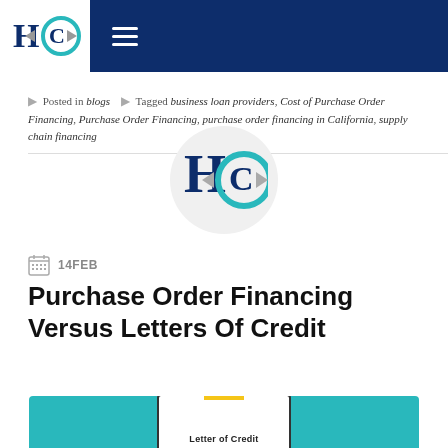HC [logo] [hamburger menu]
Posted in blogs  Tagged business loan providers, Cost of Purchase Order Financing, Purchase Order Financing, purchase order financing in California, supply chain financing
[Figure (logo): HC logo in a circular avatar frame]
14FEB
Purchase Order Financing Versus Letters Of Credit
[Figure (illustration): Teal background with a Letter of Credit document card with yellow tab, partially visible at bottom of page]